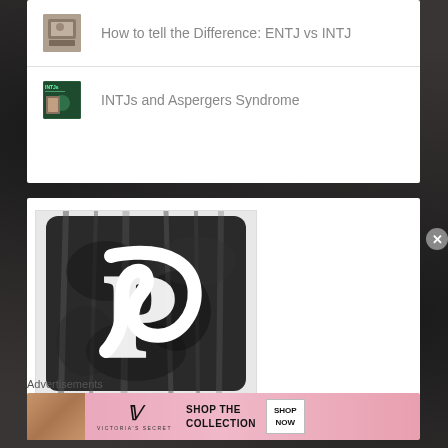How to tell the Difference: ENTJ vs INTJ
INTJs and Aspergers Syndrome
[Figure (logo): Pinterest logo in black and white artistic style with forest texture]
Advertisements
[Figure (infographic): Victoria's Secret advertisement banner with model, VS logo, SHOP THE COLLECTION text, and SHOP NOW button]